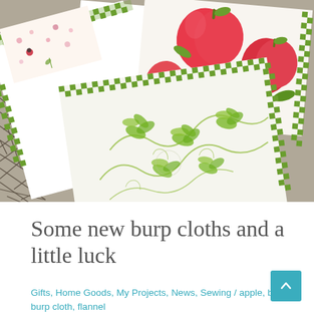[Figure (photo): Photograph of several burp cloths made from white flannel with decorative fabric borders featuring green checkerboard pattern, apple print fabric (red apples with green leaves on cream background), floral/botanical print in green on cream, and a children's print with ladybugs and flowers. The cloths are layered and fanned out on what appears to be a dark mesh surface.]
Some new burp cloths and a little luck
Gifts, Home Goods, My Projects, News, Sewing / apple, baby, burp cloth, flannel